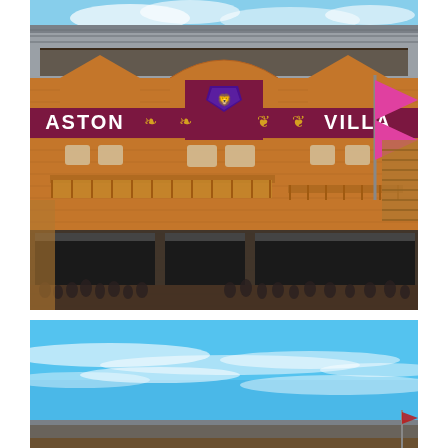[Figure (photo): Exterior facade of Villa Park (Aston Villa FC stadium) showing the iconic red brick Trinity Road Stand with 'ASTON VILLA' lettering and club crest, pink flag flying, and crowds of fans outside on a sunny day.]
[Figure (photo): Blue sky with wispy white clouds above what appears to be a stadium roof or stand, with a small flag visible at the far right.]